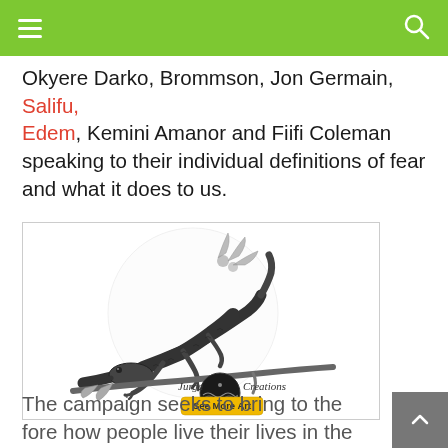Okyere Darko, Brommson, Jon Germain, Salifu, Edem, Kemini Amanor and Fiifi Coleman speaking to their individual definitions of fear and what it does to us.
[Figure (illustration): Black and white detailed pencil illustration of a lizard on a branch with leaves, with a circular logo reading 'Jurga Creations' and a yellow button saying 'See More Art']
The campaign seeks to bring to the fore how people live their lives in the shadow of their fears; how they